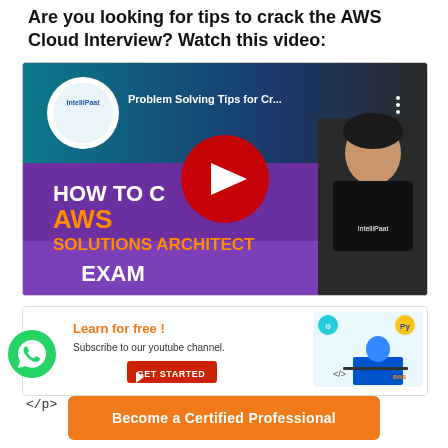Are you looking for tips to crack the AWS Cloud Interview? Watch this video:
[Figure (screenshot): YouTube video thumbnail showing 'Problem Solving Tips for Cr...' from IntelliPaat channel. Shows text 'HOW TO CRACK AWS SOLUTIONS ARCHITECT EXAM' with a presenter wearing an IntelliPaat t-shirt. Red YouTube play button overlay in center.]
[Figure (screenshot): IntelliPaat advertisement banner: 'Learn for free! Subscribe to our youtube channel.' with a GET STARTED button and illustration of a person at a laptop with AWS, Python and other tech logos.]
</p>
[Figure (other): WhatsApp green circle icon button]
Become a Certified Professional